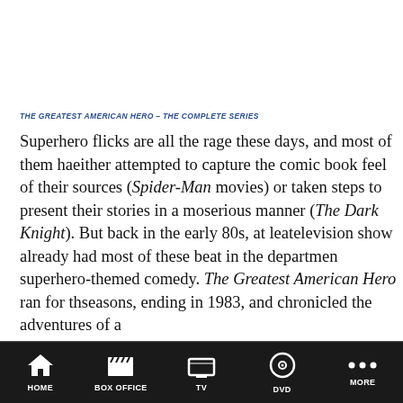THE GREATEST AMERICAN HERO – THE COMPLETE SERIES
Superhero flicks are all the rage these days, and most of them have either attempted to capture the comic book feel of their sources (the Spider-Man movies) or taken steps to present their stories in a more serious manner (The Dark Knight). But back in the early 80s, at least one television show already had most of these beat in the department of superhero-themed comedy. The Greatest American Hero ran for three seasons, ending in 1983, and chronicled the adventures of a schoolteacher, Ralph Hinkley (William Katt), who is chosen by aliens to don a superpowered suit (complete with cape) and save the world with the help of a new FBI agent friend (Robert Culp). Unfortunately, Ralph loses the instruction manual for the suit, so he must learn all of its capabilities through trial and error, which sets up a lot of the phy...
HOME  BOX OFFICE  TV  DVD  MORE